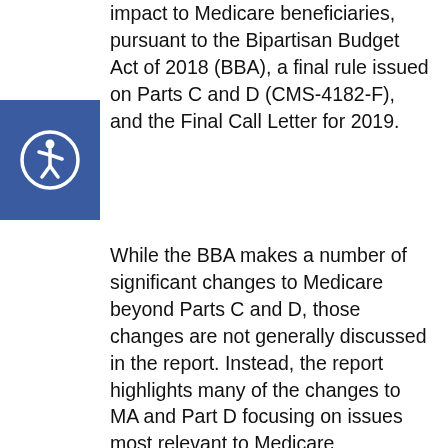impact to Medicare beneficiaries, pursuant to the Bipartisan Budget Act of 2018 (BBA), a final rule issued on Parts C and D (CMS-4182-F), and the Final Call Letter for 2019.
[Figure (illustration): Accessibility icon: blue square with a white circular wheelchair accessibility symbol]
While the BBA makes a number of significant changes to Medicare beyond Parts C and D, those changes are not generally discussed in the report. Instead, the report highlights many of the changes to MA and Part D focusing on issues most relevant to Medicare beneficiaries and those supporting or assisting them. Part I of the report provides a summary of these changes, along with relevant citations, and is organized by changes to MA, Part D and changes that impact both programs. Part II of the report considers the potential impact of some of these changes, particularly with